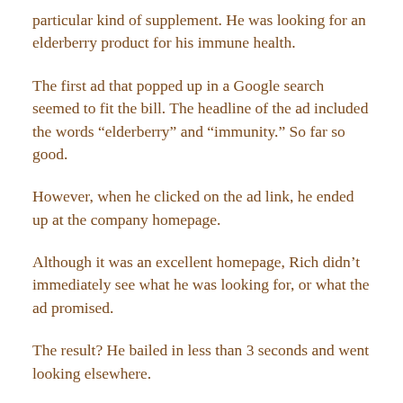particular kind of supplement. He was looking for an elderberry product for his immune health.
The first ad that popped up in a Google search seemed to fit the bill. The headline of the ad included the words “elderberry” and “immunity.” So far so good.
However, when he clicked on the ad link, he ended up at the company homepage.
Although it was an excellent homepage, Rich didn’t immediately see what he was looking for, or what the ad promised.
The result? He bailed in less than 3 seconds and went looking elsewhere.